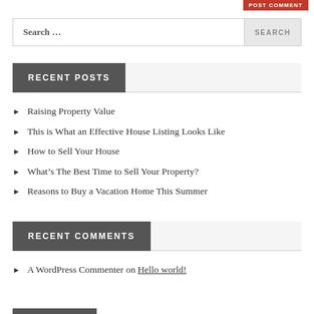RECENT POSTS
Raising Property Value
This is What an Effective House Listing Looks Like
How to Sell Your House
What’s The Best Time to Sell Your Property?
Reasons to Buy a Vacation Home This Summer
RECENT COMMENTS
A WordPress Commenter on Hello world!